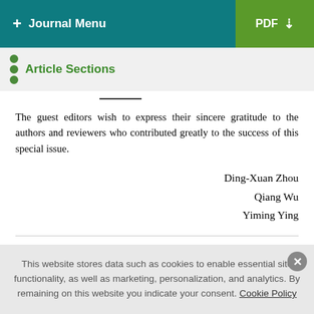+ Journal Menu | PDF
Article Sections
The guest editors wish to express their sincere gratitude to the authors and reviewers who contributed greatly to the success of this special issue.
Ding-Xuan Zhou
Qiang Wu
Yiming Ying
Copyright
This website stores data such as cookies to enable essential site functionality, as well as marketing, personalization, and analytics. By remaining on this website you indicate your consent. Cookie Policy